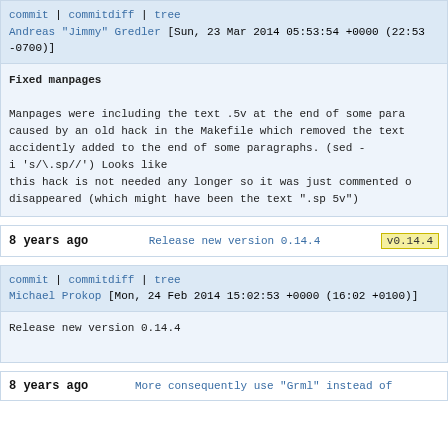commit | commitdiff | tree
Andreas "Jimmy" Gredler [Sun, 23 Mar 2014 05:53:54 +0000 (22:53 -0700)]
Fixed manpages

Manpages were including the text .5v at the end of some paragraphs. This was caused by an old hack in the Makefile which removed the text accidently added to the end of some paragraphs. (sed - i 's/\.sp//') Looks like this hack is not needed any longer so it was just commented out. The text disappeared (which might have been the text ".sp 5v")
8 years ago   Release new version 0.14.4   v0.14.4
commit | commitdiff | tree
Michael Prokop [Mon, 24 Feb 2014 15:02:53 +0000 (16:02 +0100)]
Release new version 0.14.4
8 years ago   More consequently use "Grml" instead of